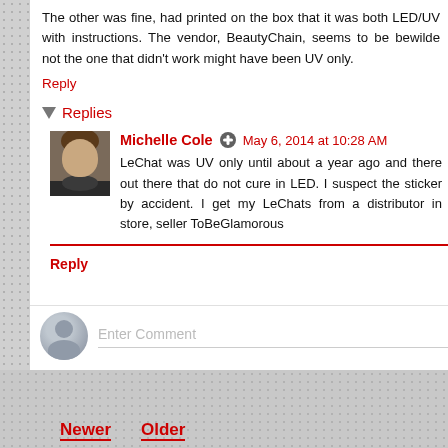The other was fine, had printed on the box that it was both LED/UV with instructions. The vendor, BeautyChain, seems to be bewildered. So the one that not the one that didn't work might have been UV only.
Reply
Replies
Michelle Cole  May 6, 2014 at 10:28 AM
LeChat was UV only until about a year ago and there are old bottles out there that do not cure in LED. I suspect the sticker was put on by accident. I get my LeChats from a distributor in an Etsy store, seller ToBeGlamorous
Reply
Enter Comment
Newer  Older